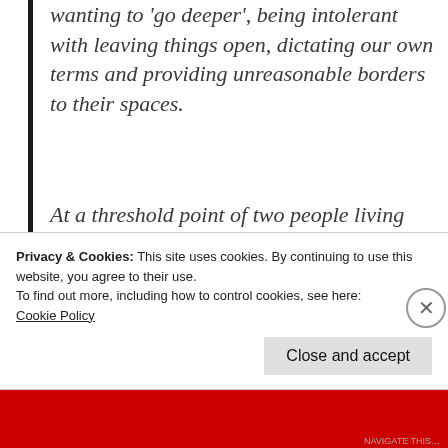wanting to 'go deeper', being intolerant with leaving things open, dictating our own terms and providing unreasonable borders to their spaces.
At a threshold point of two people living together in one place, they may come to inhabit one single space. It requires a lot of maturity to live in one single space with others. Occupying one single place, is the easier part,
Privacy & Cookies: This site uses cookies. By continuing to use this website, you agree to their use.
To find out more, including how to control cookies, see here:
Cookie Policy
Close and accept